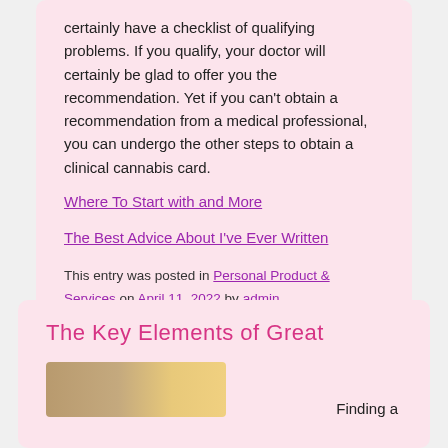certainly have a checklist of qualifying problems. If you qualify, your doctor will certainly be glad to offer you the recommendation. Yet if you can't obtain a recommendation from a medical professional, you can undergo the other steps to obtain a clinical cannabis card.
Where To Start with and More
The Best Advice About I've Ever Written
This entry was posted in Personal Product & Services on April 11, 2022 by admin.
The Key Elements of Great
Finding a